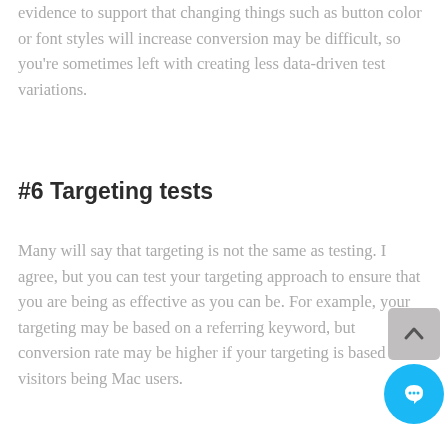evidence to support that changing things such as button color or font styles will increase conversion may be difficult, so you're sometimes left with creating less data-driven test variations.
#6 Targeting tests
Many will say that targeting is not the same as testing. I agree, but you can test your targeting approach to ensure that you are being as effective as you can be. For example, your targeting may be based on a referring keyword, but conversion rate may be higher if your targeting is based on visitors being Mac users.